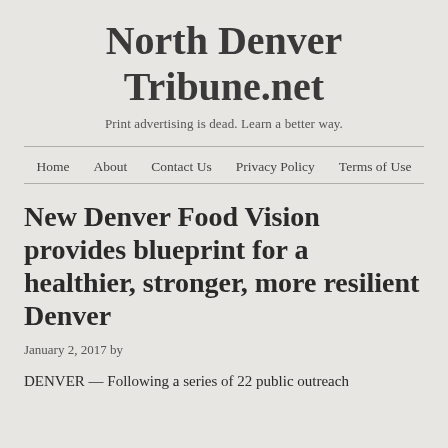North Denver Tribune.net
Print advertising is dead. Learn a better way.
Home   About   Contact Us   Privacy Policy   Terms of Use
New Denver Food Vision provides blueprint for a healthier, stronger, more resilient Denver
January 2, 2017 by
DENVER — Following a series of 22 public outreach